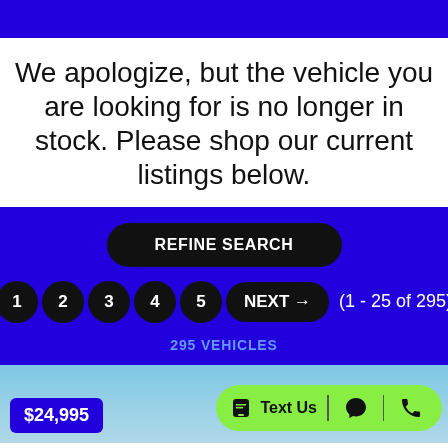We apologize, but the vehicle you are looking for is no longer in stock. Please shop our current listings below.
[Figure (screenshot): Blue section with REFINE SEARCH button, pagination (1 2 3 4 5 NEXT→), page count (1 - 25 of 295), and 295 VEHICLES label]
[Figure (screenshot): Bottom strip showing car listing with $24,995 price badge and contact bar with Text Us, messenger icon, and phone icon on green background]